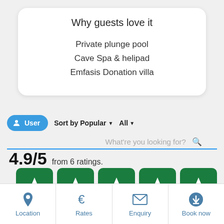Why guests love it
Private plunge pool
Cave Spa & helipad
Emfasis Donation villa
User | Sort by Popular ▼ | All ▼
What're you looking for?
4.9/5  from 6 ratings.
[Figure (other): Five green rounded star rating boxes (Trustpilot-style), each containing a white star icon]
Location | Rates | Enquiry | Book now